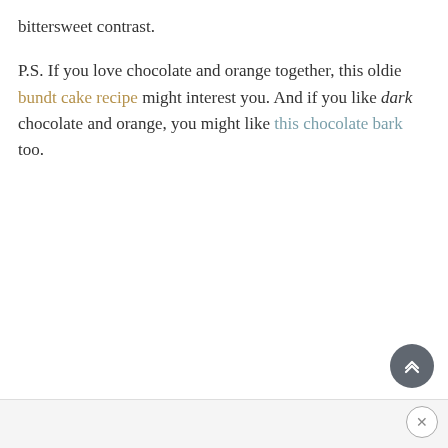bittersweet contrast.
P.S. If you love chocolate and orange together, this oldie bundt cake recipe might interest you. And if you like dark chocolate and orange, you might like this chocolate bark too.